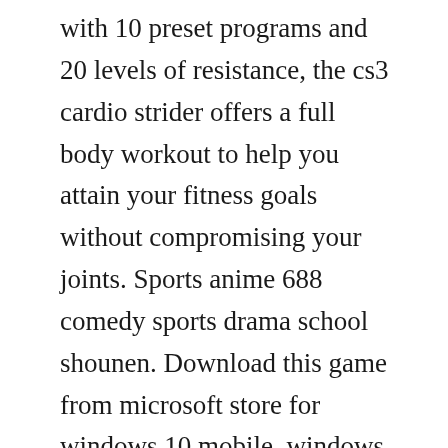with 10 preset programs and 20 levels of resistance, the cs3 cardio strider offers a full body workout to help you attain your fitness goals without compromising your joints. Sports anime 688 comedy sports drama school shounen. Download this game from microsoft store for windows 10 mobile, windows phone 8. Very nice, solidly built two bike rack holds up to 70lbs. Download free and secure sports software and apps for leisure and useful applications.
Buy cycleops vr software or other bicycle